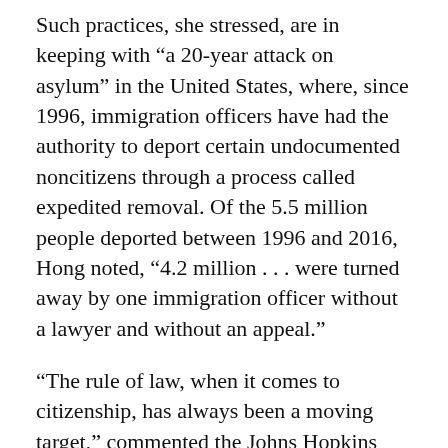Such practices, she stressed, are in keeping with “a 20-year attack on asylum” in the United States, where, since 1996, immigration officers have had the authority to deport certain undocumented noncitizens through a process called expedited removal. Of the 5.5 million people deported between 1996 and 2016, Hong noted, “4.2 million . . . were turned away by one immigration officer without a lawyer and without an appeal.”
“The rule of law, when it comes to citizenship, has always been a moving target,” commented the Johns Hopkins University legal and cultural historian Martha S. Jones. Inconsistent, politically driven interpretations of US citizenship have arisen